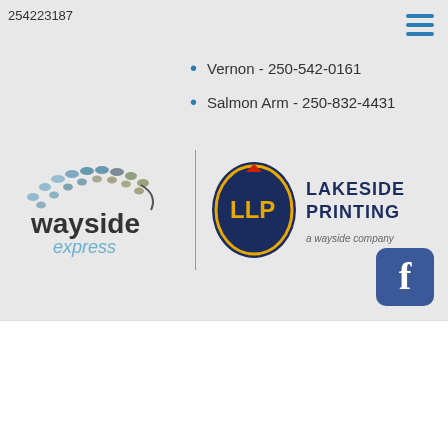254223187
Vernon - 250-542-0161
Salmon Arm - 250-832-4431
[Figure (logo): Wayside Express logo with arc of colorful dots above the wordmark 'wayside express']
[Figure (logo): Lakeside Printing logo with 'LLP' badge and text 'LAKESIDE PRINTING, a wayside company']
[Figure (logo): Facebook icon button (blue square with white 'f')]
Home > Help Center > FAQs Library > Shipping
Shipping